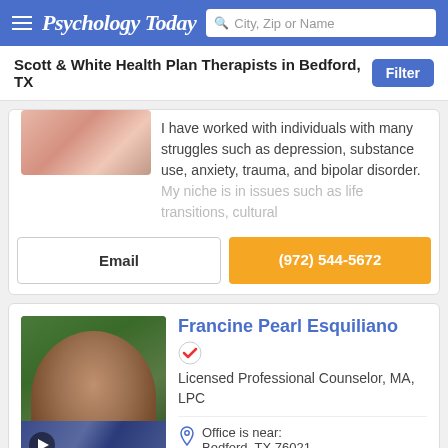Psychology Today — City, Zip or Name search
Scott & White Health Plan Therapists in Bedford, TX
I have worked with individuals with many struggles such as depression, substance use, anxiety, trauma, and bipolar disorder. My niche is in issues such as life transitions, cultural
Email
(972) 544-5672
Francine Pearl Esquiliano
Licensed Professional Counselor, MA, LPC
Office is near: Bedford, TX 76021
Offers online therapy
I am a Licensed Professional Counselor (LPC) in Texas. I earned